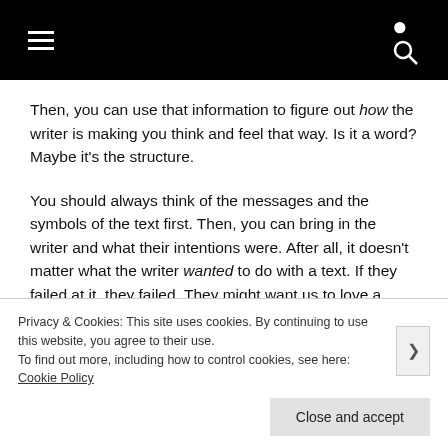Navigation bar with hamburger menu and search icon
Then, you can use that information to figure out how the writer is making you think and feel that way. Is it a word? Maybe it's the structure.
You should always think of the messages and the symbols of the text first. Then, you can bring in the writer and what their intentions were. After all, it doesn't matter what the writer wanted to do with a text. If they failed at it, they failed. They might want us to love a character we actually hate. We can't pretend we actually love them just because the writer said so. Think about their intentions after you've done your own analysis. So if the
Privacy & Cookies: This site uses cookies. By continuing to use this website, you agree to their use.
To find out more, including how to control cookies, see here: Cookie Policy